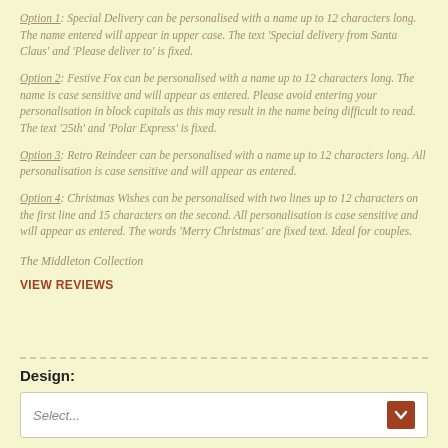Option 1: Special Delivery can be personalised with a name up to 12 characters long. The name entered will appear in upper case. The text 'Special delivery from Santa Claus' and 'Please deliver to' is fixed.
Option 2: Festive Fox can be personalised with a name up to 12 characters long. The name is case sensitive and will appear as entered. Please avoid entering your personalisation in block capitals as this may result in the name being difficult to read. The text '25th' and 'Polar Express' is fixed.
Option 3: Retro Reindeer can be personalised with a name up to 12 characters long. All personalisation is case sensitive and will appear as entered.
Option 4: Christmas Wishes can be personalised with two lines up to 12 characters on the first line and 15 characters on the second. All personalisation is case sensitive and will appear as entered. The words 'Merry Christmas' are fixed text. Ideal for couples.
The Middleton Collection
VIEW REVIEWS
Design:
Select...